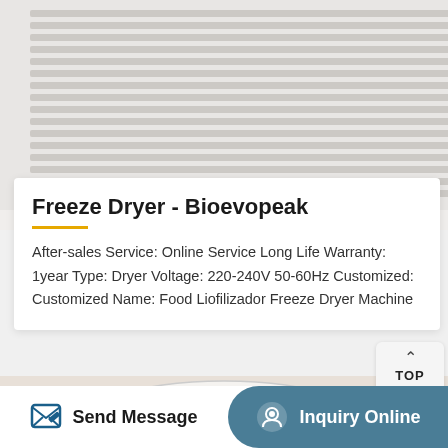[Figure (photo): Close-up photo of a freeze dryer machine showing white ventilation grilles and dark panel on the right. CE and ISO certification logos visible at the bottom left.]
Freeze Dryer - Bioevopeak
After-sales Service: Online Service Long Life Warranty: 1year Type: Dryer Voltage: 220-240V 50-60Hz Customized: Customized Name: Food Liofilizador Freeze Dryer Machine
[Figure (photo): Close-up photo of a white cylindrical freeze dryer chamber bowl with metal support rods.]
Send Message
Inquiry Online